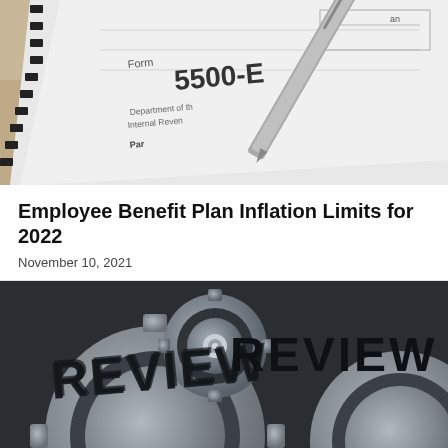[Figure (photo): Close-up photo of IRS Form 5500-EZ with a pen resting on it and manila folder in the background. Text visible: 'Form 5500-E', 'Department of th Internal Reven', 'Par']
Employee Benefit Plan Inflation Limits for 2022
November 10, 2021
[Figure (photo): Close-up photo of metal gear cogs/wheels with the word 'REVIEW' written across them in large black letters, suggesting a review or audit concept.]